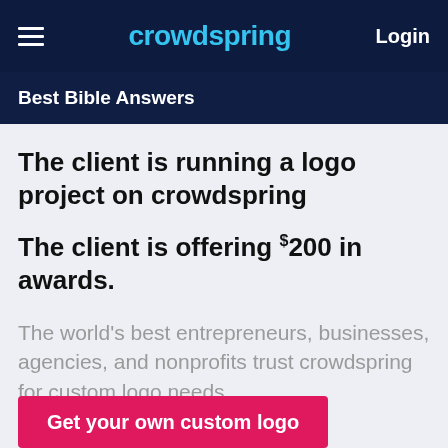crowdspring | Login
Best Bible Answers
The client is running a logo project on crowdspring
The client is offering $200 in awards.
The world's best entrepreneurs, businesses, agencies, and nonprofits trust crowdspring for custom logo needs.
Get your own custom logo